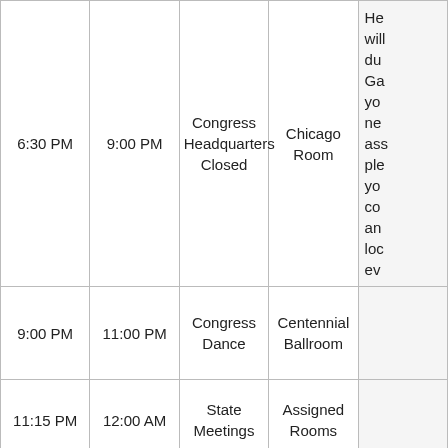| Start | End | Event | Location | Notes |
| --- | --- | --- | --- | --- |
| 6:30 PM | 9:00 PM | Congress Headquarters Closed | Chicago Room | He... will... du... Ga... yo... ne... ass... ple... yo... co... an... loc... ev... |
| 9:00 PM | 11:00 PM | Congress Dance | Centennial Ballroom |  |
| 11:15 PM | 12:00 AM | State Meetings | Assigned Rooms |  |
| 11:59 PM | 11:59 PM | Curfew | In rooms for evening |  |